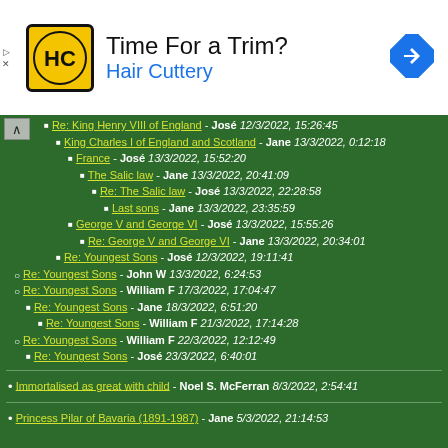[Figure (other): Advertisement banner for Hair Cuttery: 'Time For a Trim? Hair Cuttery' with logo and navigation arrow icon]
Re: King Henry VIII of England - José 12/3/2022, 15:26:45
King Charles I of England and Scotland - Jane 13/3/2022, 0:12:18
France - José 13/3/2022, 15:52:20
The Salic law - Jane 13/3/2022, 20:41:09
Re: The Salic law - José 13/3/2022, 22:28:58
Last sons - Jane 13/3/2022, 23:35:59
George V and George VI - José 13/3/2022, 15:55:26
Re: George V and George VI - Jane 13/3/2022, 20:34:01
Re: Youngest Sons - José 12/3/2022, 19:11:41
Re: Youngest Sons - John W 13/3/2022, 6:24:53
Re: Youngest Sons - William F 17/3/2022, 17:04:47
Re: Youngest Sons - Jane 18/3/2022, 6:51:20
Re: Youngest Sons - William F 21/3/2022, 17:14:28
Re: Youngest Sons - William F 22/3/2022, 12:12:49
Re: Youngest Sons - José 23/3/2022, 6:40:01
Immortalised as great with child - Noel S. McFerran 8/3/2022, 2:54:41
Princess Pilar of Bavaria (1891-1987) - Jane 5/3/2022, 21:14:53